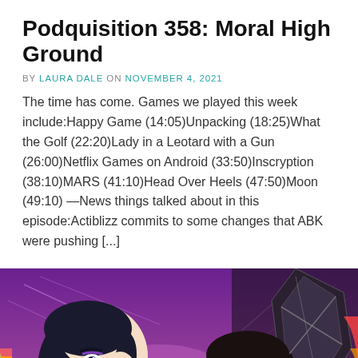Podquisition 358: Moral High Ground
BY LAURA DALE ON NOVEMBER 4, 2021
The time has come. Games we played this week include:Happy Game (14:05)Unpacking (18:25)What the Golf (22:20)Lady in a Leotard with a Gun (26:00)Netflix Games on Android (33:50)Inscryption (38:10)MARS (41:10)Head Over Heels (47:50)Moon (49:10) —News things talked about in this episode:Actiblizz commits to some changes that ABK were pushing [...]
[Figure (illustration): Illustrated artwork showing two stylized characters facing each other against a purple/pink background with dramatic lighting effects]